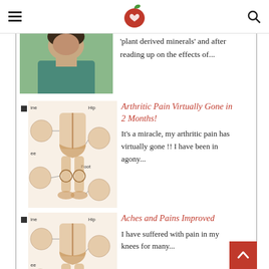[hamburger menu] [apple logo] [search icon]
[Figure (photo): Partial view of a person in a green/teal shirt, cropped at top]
'plant derived minerals' and after reading up on the effects of...
[Figure (illustration): Medical body diagram showing skeletal joints with labeled areas: Spine, Hip, Knee, Foot — with circular detail callouts]
Arthritic Pain Virtually Gone in 2 Months!
It's a miracle, my arthritic pain has virtually gone !! I have been in agony...
[Figure (illustration): Medical body diagram showing skeletal joints with labeled areas: Spine, Hip, Knee — with circular detail callouts]
Aches and Pains Improved
I have suffered with pain in my knees for many...